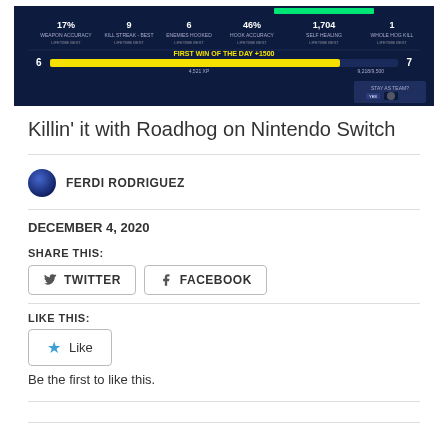[Figure (screenshot): Overwatch game end screen screenshot showing stats: 17% Weapon Accuracy, 9 Kill Streak Best, 6 Enemies Hooked, 46% Hook Accuracy, 1,704 Self Healing, 1 Whole Hog Kill. Shows 'First Win of the Day +1500' XP bar, and 'Stay as Team? YES' button. Dark blue background.]
Killin' it with Roadhog on Nintendo Switch
FERDI RODRIGUEZ
DECEMBER 4, 2020
SHARE THIS:
TWITTER
FACEBOOK
LIKE THIS:
Like
Be the first to like this.